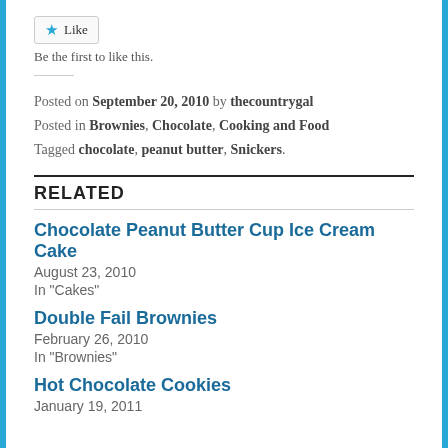[Figure (other): Like button with star icon]
Be the first to like this.
Posted on September 20, 2010 by thecountrygal
Posted in Brownies, Chocolate, Cooking and Food
Tagged chocolate, peanut butter, Snickers.
RELATED
Chocolate Peanut Butter Cup Ice Cream Cake
August 23, 2010
In "Cakes"
Double Fail Brownies
February 26, 2010
In "Brownies"
Hot Chocolate Cookies
January 19, 2011